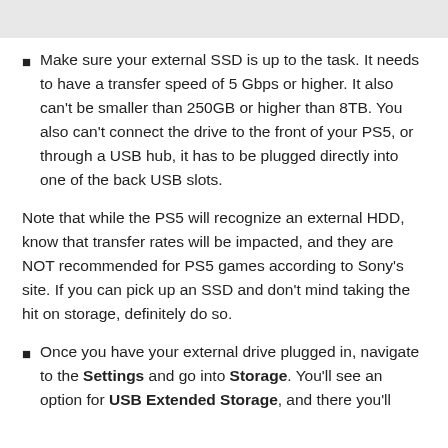Make sure your external SSD is up to the task. It needs to have a transfer speed of 5 Gbps or higher. It also can't be smaller than 250GB or higher than 8TB. You also can't connect the drive to the front of your PS5, or through a USB hub, it has to be plugged directly into one of the back USB slots.
Note that while the PS5 will recognize an external HDD, know that transfer rates will be impacted, and they are NOT recommended for PS5 games according to Sony's site. If you can pick up an SSD and don't mind taking the hit on storage, definitely do so.
Once you have your external drive plugged in, navigate to the Settings and go into Storage. You'll see an option for USB Extended Storage, and there you'll